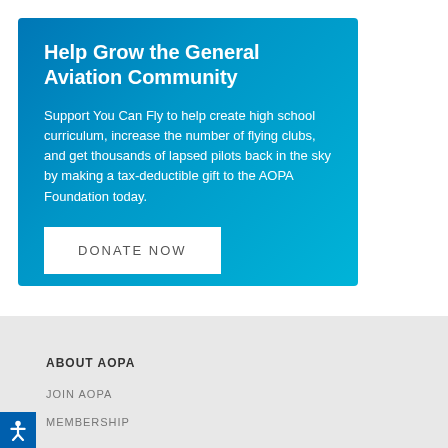Help Grow the General Aviation Community
Support You Can Fly to help create high school curriculum, increase the number of flying clubs, and get thousands of lapsed pilots back in the sky by making a tax-deductible gift to the AOPA Foundation today.
DONATE NOW
ABOUT AOPA
JOIN AOPA
MEMBERSHIP